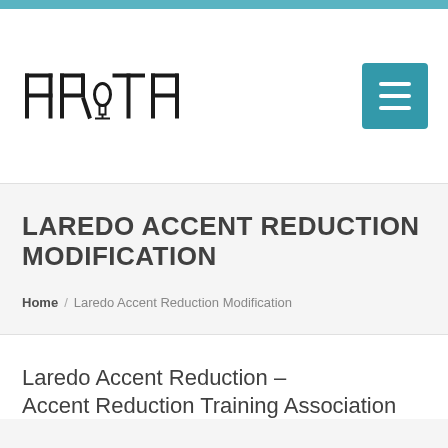ARITA logo and navigation
LAREDO ACCENT REDUCTION MODIFICATION
Home / Laredo Accent Reduction Modification
Laredo Accent Reduction –
Accent Reduction Training Association